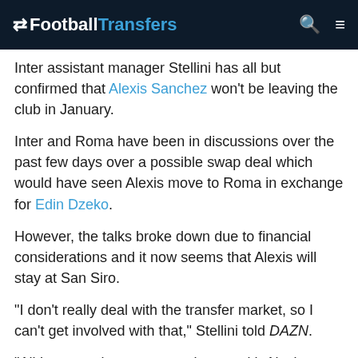FootballTransfers
Inter assistant manager Stellini has all but confirmed that Alexis Sanchez won't be leaving the club in January.
Inter and Roma have been in discussions over the past few days over a possible swap deal which would have seen Alexis move to Roma in exchange for Edin Dzeko.
However, the talks broke down due to financial considerations and it now seems that Alexis will stay at San Siro.
“I don’t really deal with the transfer market, so I can’t get involved with that,” Stellini told DAZN.
“All I can say is we are very happy with Alexis Sanchez, as we are with all our players. They are all involved in the search for our objectives and it all depends on their attitude